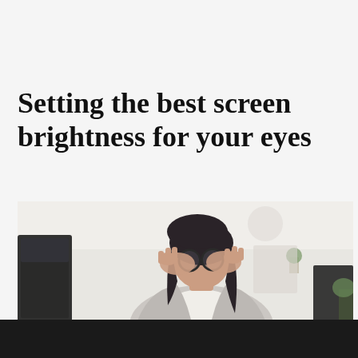Setting the best screen brightness for your eyes
[Figure (photo): A woman with dark hair and round glasses sitting at a computer monitor, rubbing her eyes with both hands due to eye strain, in an office environment with blurred background]